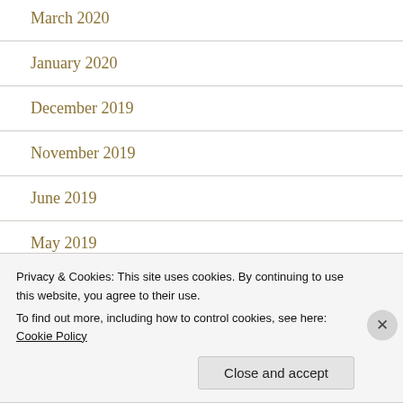March 2020
January 2020
December 2019
November 2019
June 2019
May 2019
Privacy & Cookies: This site uses cookies. By continuing to use this website, you agree to their use.
To find out more, including how to control cookies, see here: Cookie Policy
Close and accept